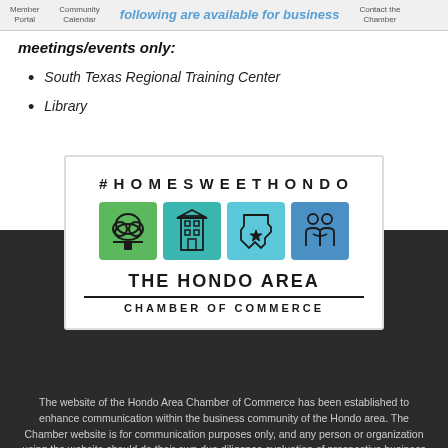Member Portal | Community Calendar | Join the Chamber | Contact the Chamber
the following are available for business meetings/events only:
South Texas Regional Training Center
Library
[Figure (logo): Hondo Area Chamber of Commerce logo with #HOMESWEETHONDO hashtag, four colored icons (green tree, teal building, teal Texas state, blue people), and text THE HONDO AREA CHAMBER OF COMMERCE]
The website of the Hondo Area Chamber of Commerce has been established to enhance communication within the business community of the Hondo area. The Chamber website is for communication purposes only, and any person or organization using the website should do their own due diligence evaluation of prospective business relationships. This website links to other websites which are not under the control of